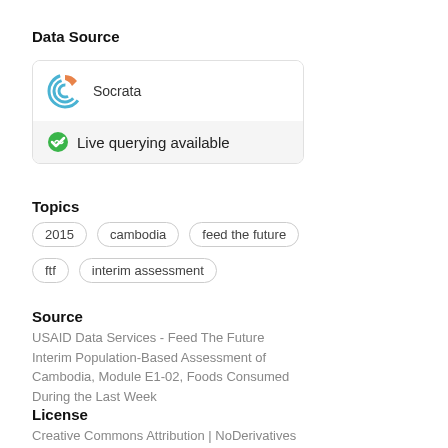Data Source
[Figure (logo): Socrata logo with concentric arcs in blue and orange segment, with text 'Socrata'. Below is a live querying available status bar with green icon.]
Topics
2015
cambodia
feed the future
ftf
interim assessment
Source
USAID Data Services - Feed The Future Interim Population-Based Assessment of Cambodia, Module E1-02, Foods Consumed During the Last Week
License
Creative Commons Attribution | NoDerivatives